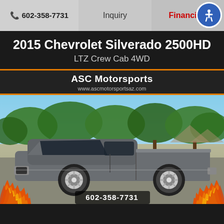602-358-7731  Inquiry  Financing
2015 Chevrolet Silverado 2500HD
LTZ Crew Cab 4WD
ASC Motorsports
www.ascmotorsportsaz.com
[Figure (photo): Photo of a 2015 Chevrolet Silverado 2500HD LTZ Crew Cab 4WD in gray, parked in a lot with trees in the background. Flames graphic overlay at the bottom corners. Phone number 602-358-7731 displayed at the bottom.]